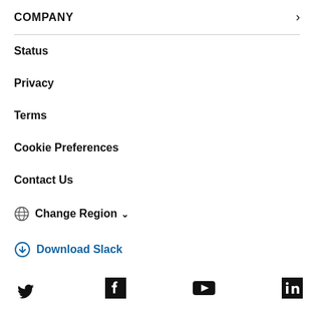COMPANY
Status
Privacy
Terms
Cookie Preferences
Contact Us
Change Region
Download Slack
[Figure (other): Social media icons row: Twitter bird, Facebook f, YouTube play button, LinkedIn in]